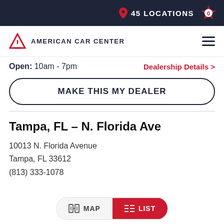45 LOCATIONS
AMERICAN CAR CENTER
Open: 10am - 7pm   Dealership Details >
MAKE THIS MY DEALER
Tampa, FL – N. Florida Ave
10013 N. Florida Avenue
Tampa, FL 33612
(813) 333-1078
MAP   LIST